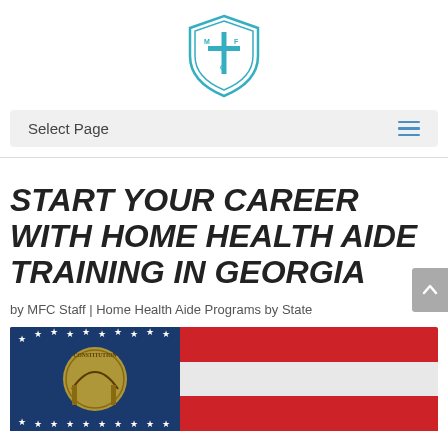[Figure (logo): MFC shield logo in teal/blue with cross and letters M, F, C]
Select Page
START YOUR CAREER WITH HOME HEALTH AIDE TRAINING IN GEORGIA
by MFC Staff | Home Health Aide Programs by State
[Figure (photo): Georgia state flag waving, showing the state seal with Constitution arch and stars on blue canton and red/white stripes]